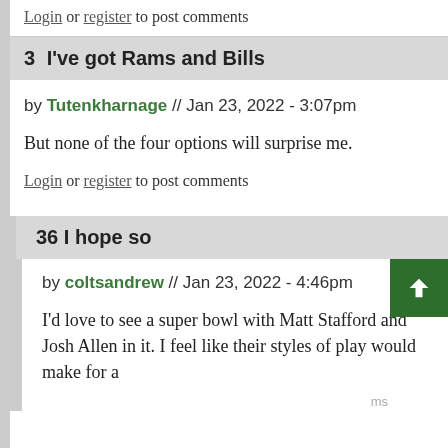Login or register to post comments
3  I've got Rams and Bills
by Tutenkharnage // Jan 23, 2022 - 3:07pm
But none of the four options will surprise me.
Login or register to post comments
36  I hope so
by coltsandrew // Jan 23, 2022 - 4:46pm
I'd love to see a super bowl with Matt Stafford and Josh Allen in it. I feel like their styles of play would make for a